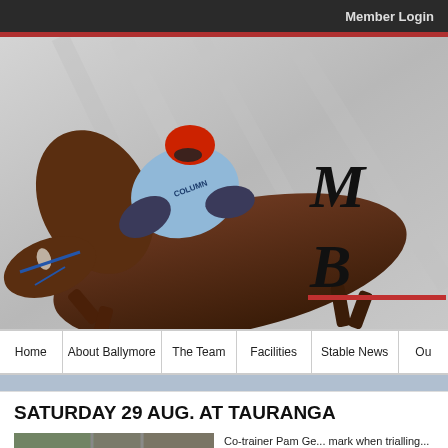Member Login
[Figure (photo): Hero image of a jockey in red helmet and light blue silks riding a dark brown horse at full gallop, with a grey background. Partially visible text 'M' and 'B' overlaid on right side.]
Home | About Ballymore | The Team | Facilities | Stable News | Ou...
SATURDAY 29 AUG. AT TAURANGA
[Figure (photo): Aerial satellite view of a horse racing track / oval with surrounding green areas and urban streets.]
Co-trainer Pam Ge... mark when trialling... Aroha, and worked... run over 1200 metr... distance."
[29 Aug 20]